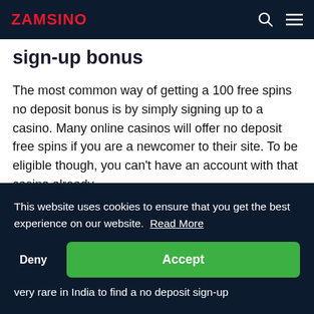ZAMSINO
Sign-up Bonus
The most common way of getting a 100 free spins no deposit bonus is by simply signing up to a casino. Many online casinos will offer no deposit free spins if you are a newcomer to their site. To be eligible though, you can't have an account with that casino already.
... But ... to ... 's very rare in India to find a no deposit sign-up
This website uses cookies to ensure that you get the best experience on our website. Read More
Deny
Accept